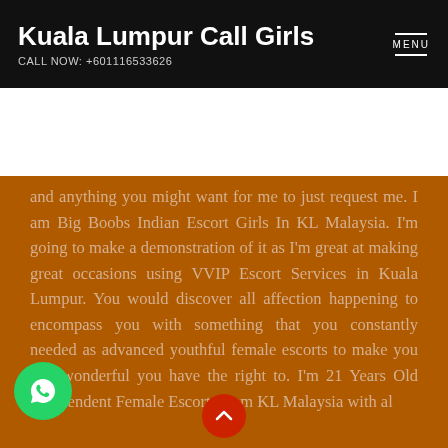Kuala Lumpur Call Girls
CALL NOW: +601116533626
and anything you might want for me to just request me. I am Big Boobs Indian Escort Girls In KL Malaysia. I'm going to make a demonstration of it as I'm great at making great occasions using VVIP Escort Services in Kuala Lumpur. You would discover all affection happening to encompass you with something that you constantly needed as advanced youthful female escorts to make you feel wonderful you have the right to. I'm 21 Years Old Independent Female Escorts from KL Malaysia with all new forms of...